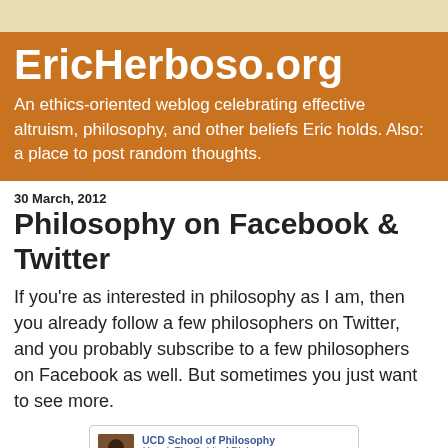EricHerboso.org
An ethics-oriented weblog celebrating effective altruism, philosophy, and other beliefs Eric holds. Also: a place to post random thoughts.
30 March, 2012
Philosophy on Facebook & Twitter
If you're as interested in philosophy as I am, then you already follow a few philosophers on Twitter, and you probably subscribe to a few philosophers on Facebook as well. But sometimes you just want to see more.
[Figure (screenshot): A Facebook post screenshot from UCD School of Philosophy about 'Hegel: The Spirit of Right' symposium at Newman House, University College Dublin, with a link to UCD School of Philosophy News & Events at www.ucd.ie]